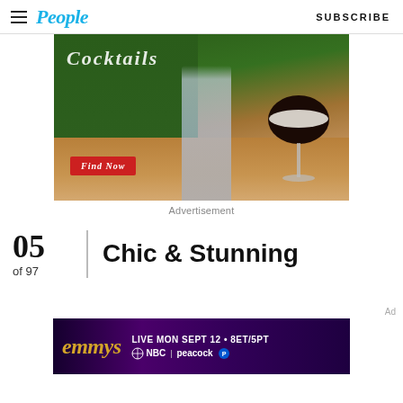People  SUBSCRIBE
[Figure (photo): Advertisement image showing a cocktail bottle and espresso martini glass with 'Find Now' button on a green/wood background, with 'Cocktails' text overlay]
Advertisement
05
of 97
Chic & Stunning
Ad
[Figure (photo): Emmy Awards advertisement banner: 'emmys LIVE MON SEPT 12 • 8ET/5PT NBC | peacock' on purple/gold background]